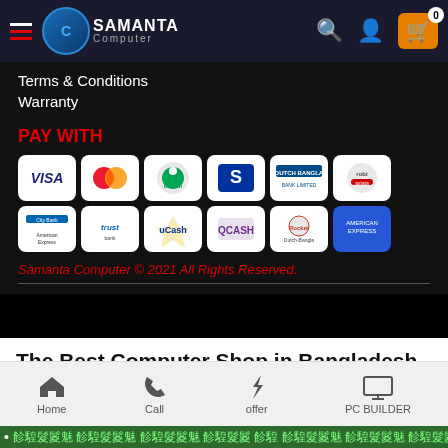Samanta Computer - navigation header with logo, search, user, and cart icons
Terms & Conditions
Warranty
PAY WITH
[Figure (infographic): Payment method icons in a 2-row 6-column grid: VISA, Mastercard, bKash, SureCash/S, Dutch Bangla, Robi (top row); City Bank, trust, uCash, QCASH, Rocket, American Express (bottom row)]
Samanta Computer © 2021 All Rights Reserved.
The Best Computer Shop in Bangladesh
If you are looking for the best computer shop in Bangladesh you must consider Samanta Computer, as it is a leading computer shop and e-
Home | Call | offer | PC BUILDER - bottom navigation bar
Ticker bar with Bengali text